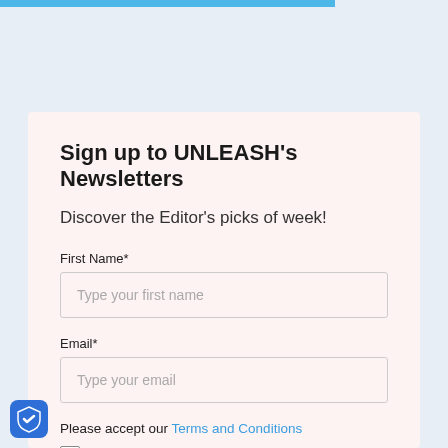Sign up to UNLEASH's Newsletters
Discover the Editor's picks of week!
First Name*
Type your first name
Email*
Type your email
Please accept our Terms and Conditions
I accept*